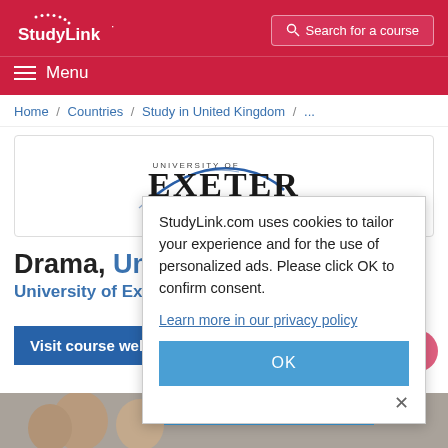StudyLink — Search for a course — Menu
Home / Countries / Study in United Kingdom / ...
[Figure (logo): University of Exeter logo with arc swoosh and text UNIVERSITY OF EXETER]
Drama, University of Exeter
University of Exeter, in the United Kingdom
StudyLink.com uses cookies to tailor your experience and for the use of personalized ads. Please click OK to confirm consent.
Learn more in our privacy policy
OK
Visit course webpage
Register to StudyLink